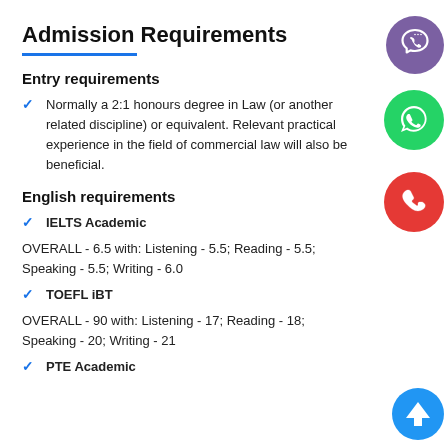Admission Requirements
Entry requirements
Normally a 2:1 honours degree in Law (or another related discipline) or equivalent. Relevant practical experience in the field of commercial law will also be beneficial.
English requirements
IELTS Academic
OVERALL - 6.5 with: Listening - 5.5; Reading - 5.5; Speaking - 5.5; Writing - 6.0
TOEFL iBT
OVERALL - 90 with: Listening - 17; Reading - 18; Speaking - 20; Writing - 21
PTE Academic
[Figure (illustration): Purple Viber phone icon circle]
[Figure (illustration): Green WhatsApp message icon circle]
[Figure (illustration): Red phone icon circle]
[Figure (illustration): Blue upward arrow circle button]